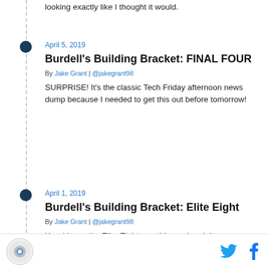looking exactly like I thought it would.
April 5, 2019
Burdell's Building Bracket: FINAL FOUR
By Jake Grant | @jakegrant98
SURPRISE! It's the classic Tech Friday afternoon news dump because I needed to get this out before tomorrow!
April 1, 2019
Burdell's Building Bracket: Elite Eight
By Jake Grant | @jakegrant98
Yes, I know the Elite Eight was this weekend. It